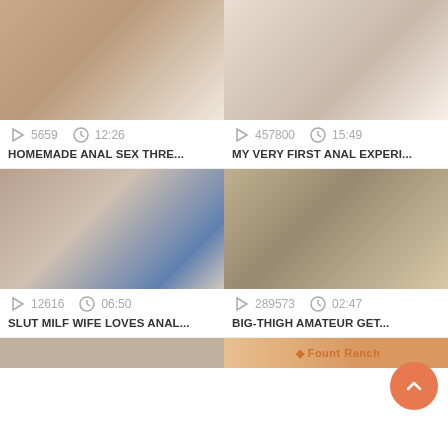[Figure (screenshot): Video thumbnail 1 - couple on couch]
5659   12:26
HOMEMADE ANAL SEX THRE...
[Figure (screenshot): Video thumbnail 2 - couple on bed]
457800   15:49
MY VERY FIRST ANAL EXPERI...
[Figure (screenshot): Video thumbnail 3 - close up]
12616   06:50
SLUT MILF WIFE LOVES ANAL...
[Figure (screenshot): Video thumbnail 4 - woman]
289573   02:47
BIG-THIGH AMATEUR GET...